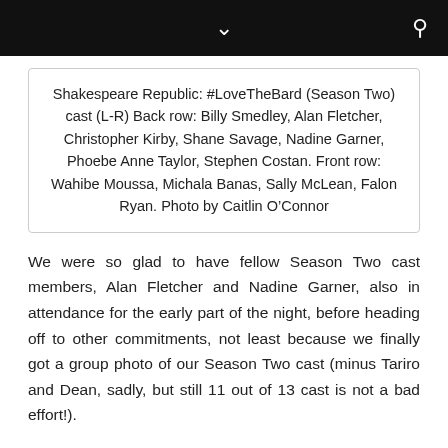Shakespeare Republic: #LoveTheBard (Season Two) cast (L-R) Back row: Billy Smedley, Alan Fletcher, Christopher Kirby, Shane Savage, Nadine Garner, Phoebe Anne Taylor, Stephen Costan. Front row: Wahibe Moussa, Michala Banas, Sally McLean, Falon Ryan. Photo by Caitlin O’Connor
We were so glad to have fellow Season Two cast members, Alan Fletcher and Nadine Garner, also in attendance for the early part of the night, before heading off to other commitments, not least because we finally got a group photo of our Season Two cast (minus Tariro and Dean, sadly, but still 11 out of 13 cast is not a bad effort!).
Huge thanks to Paul for his wonderful camera work and for giving his time and support to the event.  Also to Caitlin